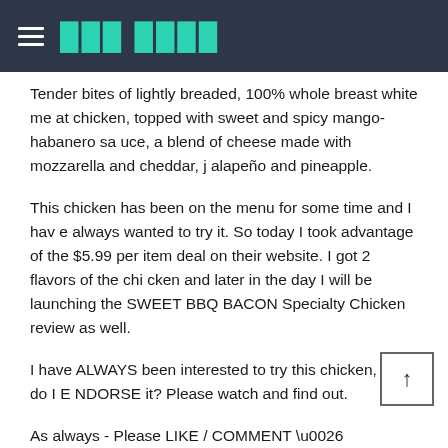☰  ███ ████
Tender bites of lightly breaded, 100% whole breast white meat chicken, topped with sweet and spicy mango-habanero sauce, a blend of cheese made with mozzarella and cheddar, jalapeño and pineapple.
This chicken has been on the menu for some time and I have always wanted to try it. So today I took advantage of the $5.99 per item deal on their website. I got 2 flavors of the chicken and later in the day I will be launching the SWEET BBQ BACON Specialty Chicken review as well.
I have ALWAYS been interested to try this chicken, but do I ENDORSE it? Please watch and find out.
As always - Please LIKE / COMMENT & SUBSCRIBE!